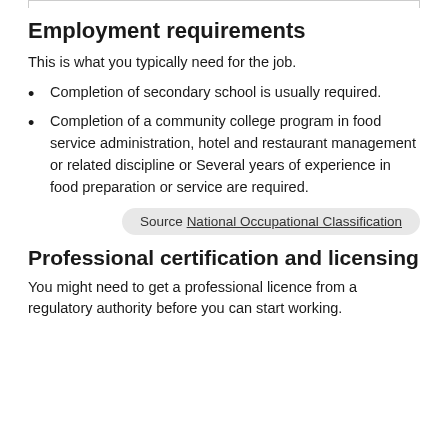Employment requirements
This is what you typically need for the job.
Completion of secondary school is usually required.
Completion of a community college program in food service administration, hotel and restaurant management or related discipline or Several years of experience in food preparation or service are required.
Source National Occupational Classification
Professional certification and licensing
You might need to get a professional licence from a regulatory authority before you can start working.